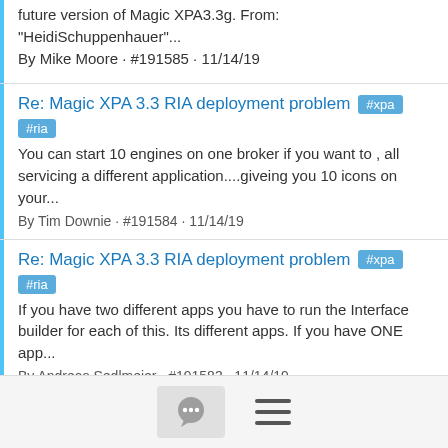future version of Magic XPA3.3g. From: "HeidiSchuppenhauer"...
By Mike Moore · #191585 · 11/14/19
Re: Magic XPA 3.3 RIA deployment problem #xpa #ria
You can start 10 engines on one broker if you want to , all servicing a different application....giveing you 10 icons on your...
By Tim Downie · #191584 · 11/14/19
Re: Magic XPA 3.3 RIA deployment problem #xpa #ria
If you have two different apps you have to run the Interface builder for each of this. Its different apps. If you have ONE app...
By Andreas Sedlmeier · #191583 · 11/14/19
Re: Magic XPA 3.3 RIA deployment problem #xpa #ria
Dear Andreas and Tim! Thank you for your infos! So, I have to do interface building as many times I need icon on my phone. Yes...
[Figure (screenshot): Footer bar with chat icon button and hamburger menu icon]